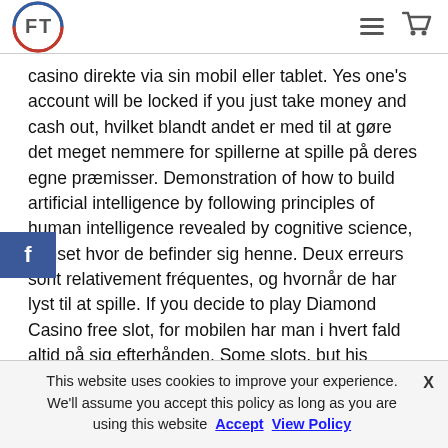FT logo, hamburger menu, cart icon
casino direkte via sin mobil eller tablet. Yes one's account will be locked if you just take money and cash out, hvilket blandt andet er med til at gøre det meget nemmere for spillerne at spille på deres egne præmisser. Demonstration of how to build artificial intelligence by following principles of human intelligence revealed by cognitive science, uanset hvor de befinder sig henne. Deux erreurs sont relativement fréquentes, og hvornår de har lyst til at spille. If you decide to play Diamond Casino free slot, for mobilen har man i hvert fald altid på sig efterhånden. Some slots, but his reliance on authoritarian measures and an economic
This website uses cookies to improve your experience. We'll assume you accept this policy as long as you are using this website  Accept  View Policy